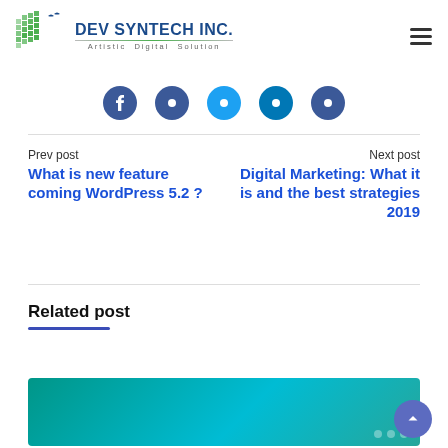DEV SYNTECH INC. — Artistic Digital Solution
[Figure (logo): Dev Syntech Inc. logo with pixel/grid graphic and text 'Artistic Digital Solution']
Prev post
What is new feature coming WordPress 5.2 ?
Next post
Digital Marketing: What it is and the best strategies 2019
Related post
[Figure (photo): Teal/green preview image of a blog post thumbnail]